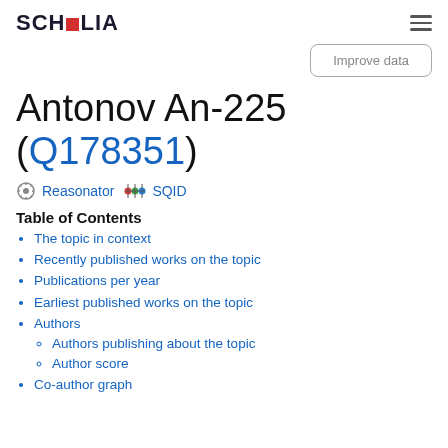SCHOLIA
Antonov An-225 (Q178351)
⚙ Reasonator 🌐 SQID
Table of Contents
The topic in context
Recently published works on the topic
Publications per year
Earliest published works on the topic
Authors
Authors publishing about the topic
Author score
Co-author graph